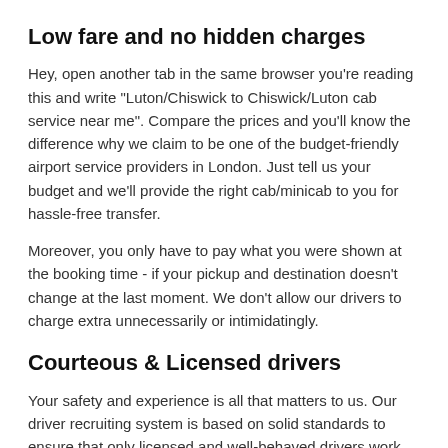Low fare and no hidden charges
Hey, open another tab in the same browser you're reading this and write “Luton/Chiswick to Chiswick/Luton cab service near me”. Compare the prices and you’ll know the difference why we claim to be one of the budget-friendly airport service providers in London. Just tell us your budget and we’ll provide the right cab/minicab to you for hassle-free transfer.
Moreover, you only have to pay what you were shown at the booking time - if your pickup and destination doesn’t change at the last moment. We don’t allow our drivers to charge extra unnecessarily or intimidatingly.
Courteous & Licensed drivers
Your safety and experience is all that matters to us. Our driver recruiting system is based on solid standards to ensure that only licensed and well-behaved drivers work